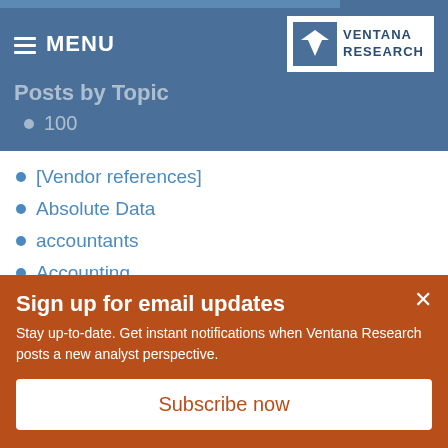MENU
Posts by Topic
100
[Vendor references]
Absolute Data
accountants
Accounting
SEE ALL
Sign up for email updates
Stay up-to-date. Get instant notifications when Ventana Research posts a new analyst perspective.
Subscribe now